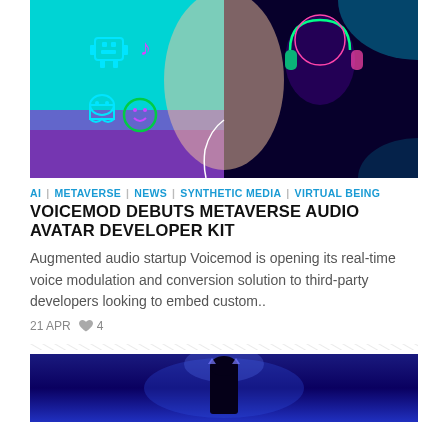[Figure (photo): Split image: left half shows a smiling woman with earbuds on a cyan/teal background with colorful neon gaming icons (robot, music note, ghost, smiley face). Right half shows a futuristic dark avatar/cyborg figure wearing headphones with neon green and pink lighting.]
AI | METAVERSE | NEWS | SYNTHETIC MEDIA | VIRTUAL BEING
VOICEMOD DEBUTS METAVERSE AUDIO AVATAR DEVELOPER KIT
Augmented audio startup Voicemod is opening its real-time voice modulation and conversion solution to third-party developers looking to embed custom..
21 APR ♥ 4
[Figure (photo): Dark blue/purple photo showing a silhouetted figure, possibly a performer or robot on a stage with dramatic blue lighting.]